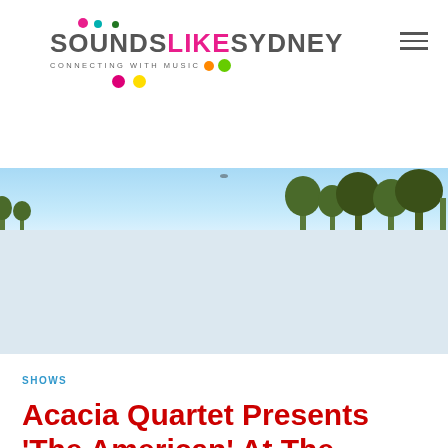SOUNDS LIKE SYDNEY — CONNECTING WITH MUSIC
[Figure (photo): Hero banner image showing blue sky with trees silhouetted along the right side]
[Figure (other): Advertisement/banner placeholder area with light blue-grey background]
SHOWS
Acacia Quartet Presents 'The American' At The